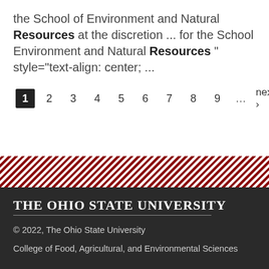the School of Environment and Natural Resources at the discretion ... for the School Environment and Natural Resources " style="text-align: center; ...
1 2 3 4 5 6 7 8 9 … next › last »
[Figure (other): Red and white diagonal striped decorative band]
THE OHIO STATE UNIVERSITY
© 2022, The Ohio State University
College of Food, Agricultural, and Environmental Sciences